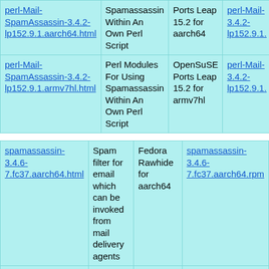| perl-Mail-SpamAssassin-3.4.2-lp152.9.1.aarch64.html | Spamassassin Within An Own Perl Script | Ports Leap 15.2 for aarch64 | perl-Mail-3.4.2-lp152.9.1. |
| perl-Mail-SpamAssassin-3.4.2-lp152.9.1.armv7hl.html | Perl Modules For Using Spamassassin Within An Own Perl Script | OpenSuSE Ports Leap 15.2 for armv7hl | perl-Mail-3.4.2-lp152.9.1. |
| spamassassin-3.4.6-7.fc37.aarch64.html | Spam filter for email which can be invoked from mail delivery agents | Fedora Rawhide for aarch64 | spamassassin-3.4.6-7.fc37.aarch64.rpm |
| spamassassin-3.4.6- | Spam filter for email which can | Fedora Rawhide for | spamassassin-3.4.6- |